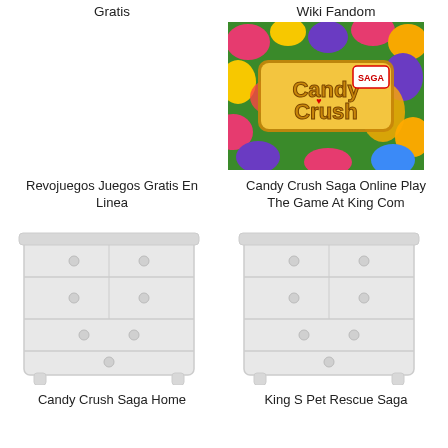Gratis
Wiki Fandom
[Figure (photo): Candy Crush Saga logo image with colorful candies in background]
Revojuegos Juegos Gratis En Linea
Candy Crush Saga Online Play The Game At King Com
[Figure (illustration): White dresser/chest of drawers illustration - Candy Crush Saga Home]
[Figure (illustration): White dresser/chest of drawers illustration - King S Pet Rescue Saga]
Candy Crush Saga Home
King S Pet Rescue Saga